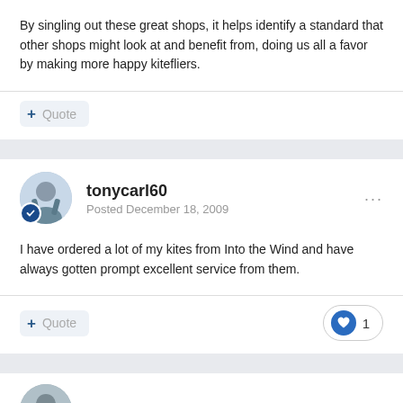By singling out these great shops, it helps identify a standard that other shops might look at and benefit from, doing us all a favor by making more happy kitefliers.
+ Quote
tonycarl60
Posted December 18, 2009
I have ordered a lot of my kites from Into the Wind and have always gotten prompt excellent service from them.
+ Quote  ♥ 1
Baws